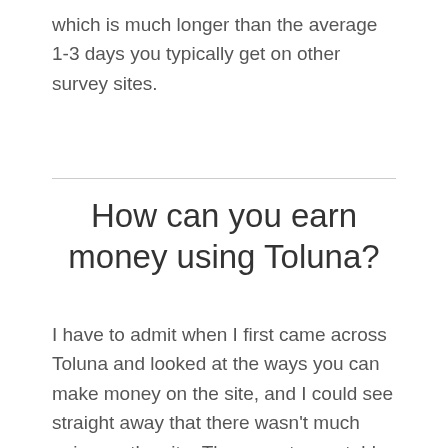which is much longer than the average 1-3 days you typically get on other survey sites.
How can you earn money using Toluna?
I have to admit when I first came across Toluna and looked at the ways you can make money on the site, and I could see straight away that there wasn't much going on the site. There are two notable